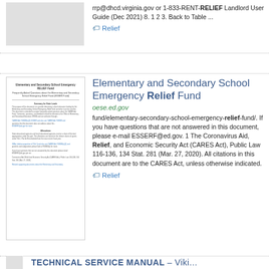rrp@dhcd.virginia.gov or 1-833-RENT-RELIEF Landlord User Guide (Dec 2021) 8. 1 2 3. Back to Table ...
Relief
Elementary and Secondary School Emergency Relief Fund
oese.ed.gov
fund/elementary-secondary-school-emergency-relief-fund/. If you have questions that are not answered in this document, please e-mail ESSERF@ed.gov. 1 The Coronavirus Aid, Relief, and Economic Security Act (CARES Act), Public Law 116-136, 134 Stat. 281 (Mar. 27, 2020). All citations in this document are to the CARES Act, unless otherwise indicated.
Relief
TECHNICAL SERVICE MANUAL - Viki...